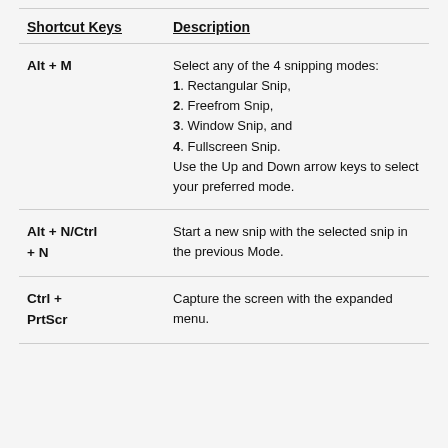| Shortcut Keys | Description |
| --- | --- |
| Alt + M | Select any of the 4 snipping modes:
1. Rectangular Snip,
2. Freefrom Snip,
3. Window Snip, and
4. Fullscreen Snip.
Use the Up and Down arrow keys to select your preferred mode. |
| Alt + N/Ctrl + N | Start a new snip with the selected snip in the previous Mode. |
| Ctrl + PrtScr | Capture the screen with the expanded menu. |